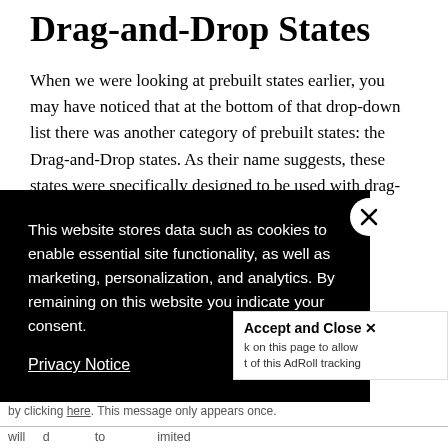Drag-and-Drop States
When we were looking at prebuilt states earlier, you may have noticed that at the bottom of that drop-down list there was another category of prebuilt states: the Drag-and-Drop states. As their name suggests, these states were specifically designed to be used with drag-and-drop interactions. They allow you to …re … 's take a
[Figure (screenshot): Cookie consent overlay popup with black background. Text reads: 'This website stores data such as cookies to enable essential site functionality, as well as marketing, personalization, and analytics. By remaining on this website you indicate your consent.' with a close (X) button and a Privacy Notice link. An 'Accept and Close x' bar appears in the bottom right with additional tracking-related text.]
Y … A … by clicking here. This message only appears once.
will … d … to … imited